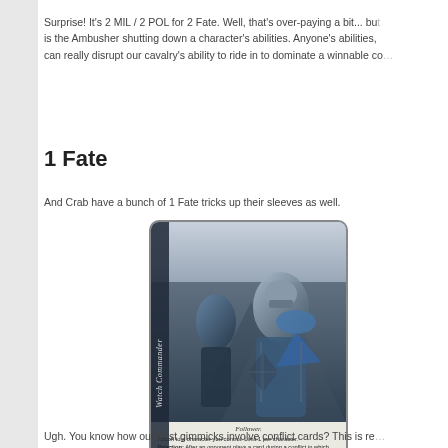Surprise!  It's 2 MIL / 2 POL for 2 Fate.  Well, that's over-paying a bit... but is the Ambusher shutting down a character's abilities.  Anyone's abilities, can really disrupt our cavalry's ability to ride in to dominate a winnable co...
1 Fate
And Crab have a bunch of 1 Fate tricks up their sleeves as well.
[Figure (photo): Trading card game card showing 'Watch Commander', a Follower card for a character in blue and black armor. The card has artwork depicting armored warriors, a vertical title 'Watch Commander' on the left side, and card text describing 'Follower' type with a Reaction ability.]
Ugh.  You know how our best gimmicks involve conflict cards?  This is re...